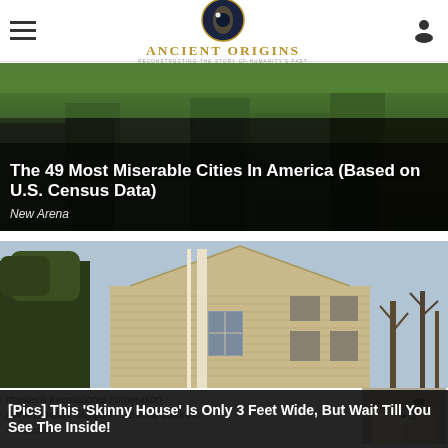Ancient Origins — Reconstructing the story of humanity's past
[Figure (photo): Dark photo of deteriorated urban buildings with text overlay: The 49 Most Miserable Cities In America (Based on U.S. Census Data) — New Arena]
[Figure (photo): Photo of a tan/beige two-story house with trees in background]
mantech international corporation
Administrative Support - General Jobs in…
iobble.com
[Pics] This 'Skinny House' Is Only 3 Feet Wide, But Wait Till You See The Inside!